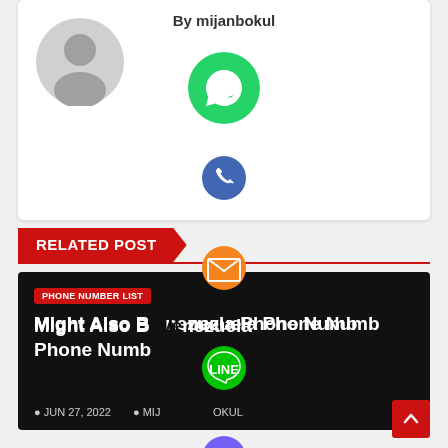By mijanbokul
[Figure (screenshot): Author avatar placeholder - gray circle with person silhouette]
[Figure (infographic): Social share buttons: WhatsApp (green), Phone/Viber (blue), Email (orange), Line (green), Viber (purple), Close (green) floating over page content]
RELATED POST
[Figure (screenshot): Dark post card with red PHONE NUMBER LIST badge, title 'Might Also Be Venezuela Phone Number', meta: JUN 27, 2022, MIJANBOKUL]